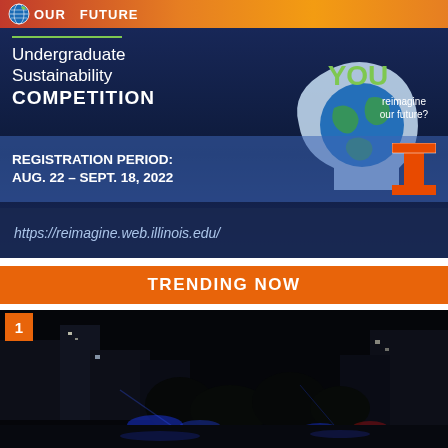[Figure (infographic): University of Illinois Undergraduate Sustainability Competition advertisement. Dark blue background with globe icon, headline 'OUR FUTURE', tagline 'Undergraduate Sustainability Competition', silhouette of a head with Earth inside, text 'YOU reimagine our future?', registration period 'AUG. 22 – SEPT. 18, 2022', Illinois Block I logo, and URL https://reimagine.web.illinois.edu/]
TRENDING NOW
[Figure (photo): Night-time outdoor photo showing lights and what appears to be emergency/police vehicle lights in the dark]